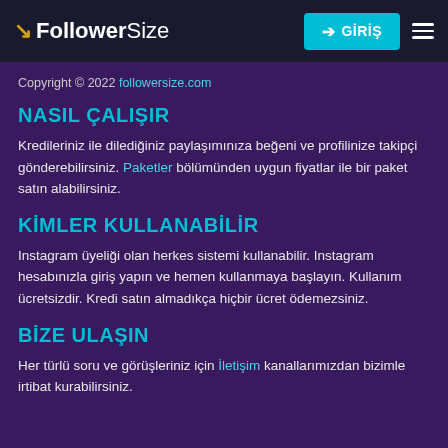FollowerSize — GİRİŞ
Copyright © 2022 followersize.com
NASIL ÇALIŞIR
Kredileriniz ile dilediğiniz paylaşımınıza beğeni ve profilinize takipçi gönderebilirsiniz. Paketler bölümünden uygun fiyatlar ile bir paket satın alabilirsiniz.
KİMLER KULLANABİLİR
Instagram üyeliği olan herkes sistemi kullanabilir. Instagram hesabınızla giriş yapın ve hemen kullanmaya başlayın. Kullanım ücretsizdir. Kredi satın almadıkça hiçbir ücret ödemezsiniz.
BİZE ULAŞIN
Her türlü soru ve görüşleriniz için İletişim kanallarımızdan bizimle irtibat kurabilirsiniz.